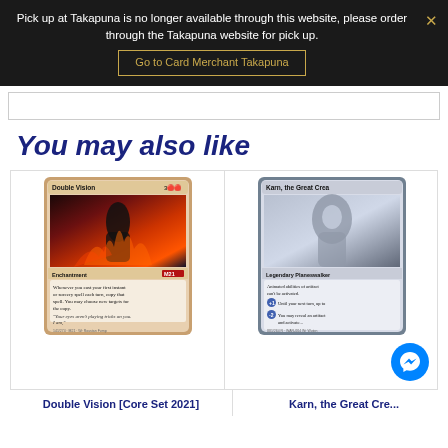Pick up at Takapuna is no longer available through this website, please order through the Takapuna website for pick up.
Go to Card Merchant Takapuna
You may also like
[Figure (photo): Magic: The Gathering card - Double Vision [Core Set 2021], an Enchantment card with red border and M21 set symbol]
Double Vision [Core Set 2021]
[Figure (photo): Magic: The Gathering card - Karn, the Great Creator, a Legendary Planeswalker card partially visible on right side]
Karn, the Great Cre...